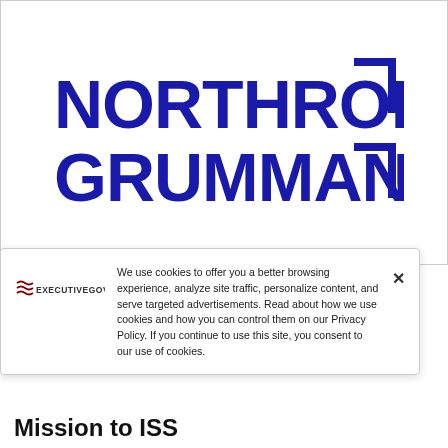[Figure (logo): Northrop Grumman logo — bold blue text 'NORTHROP GRUMMAN' with a square bracket corner graphic in dark blue]
[Figure (logo): ExecutiveGov logo — wavy lines icon followed by 'EXECUTIVEGOV' text in dark red/maroon]
We use cookies to offer you a better browsing experience, analyze site traffic, personalize content, and serve targeted advertisements. Read about how we use cookies and how you can control them on our Privacy Policy. If you continue to use this site, you consent to our use of cookies.
Mission to ISS